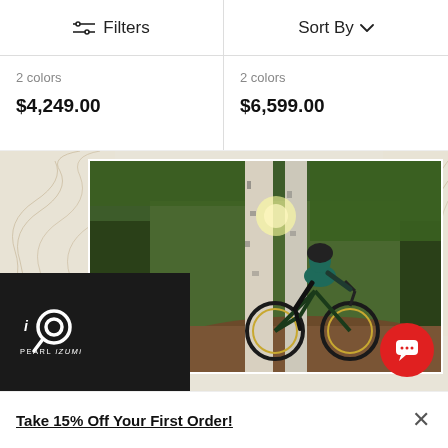Filters  |  Sort By
2 colors
$4,249.00
2 colors
$6,599.00
[Figure (photo): Mountain biker riding through a forested trail with birch trees and sunlight, with Pearl Izumi branding overlay on black card in bottom left corner, topographic map pattern on left and right sides]
Take 15% Off Your First Order!